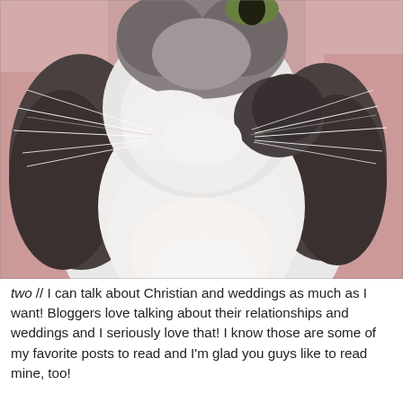[Figure (photo): Close-up photo of a black and white cat with long whiskers, white fluffy fur on chest and face, pink nose, and black markings. The cat is looking slightly upward against a pink/rose colored background.]
two // I can talk about Christian and weddings as much as I want! Bloggers love talking about their relationships and weddings and I seriously love that! I know those are some of my favorite posts to read and I'm glad you guys like to read mine, too!